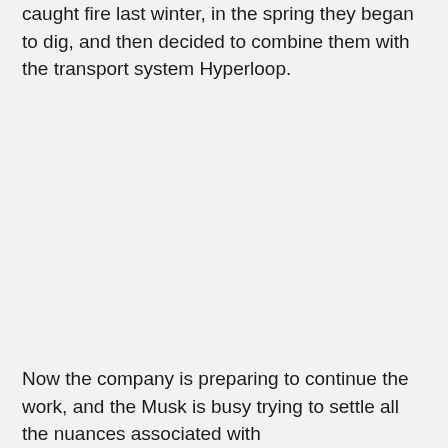caught fire last winter, in the spring they began to dig, and then decided to combine them with the transport system Hyperloop.
Now the company is preparing to continue the work, and the Musk is busy trying to settle all the nuances associated with